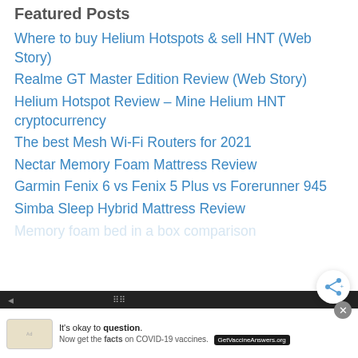Featured Posts
Where to buy Helium Hotspots & sell HNT (Web Story)
Realme GT Master Edition Review (Web Story)
Helium Hotspot Review – Mine Helium HNT cryptocurrency
The best Mesh Wi-Fi Routers for 2021
Nectar Memory Foam Mattress Review
Garmin Fenix 6 vs Fenix 5 Plus vs Forerunner 945
Simba Sleep Hybrid Mattress Review
Memory foam bed in a box comparison
[Figure (other): Share button (circular icon with share symbol)]
It's okay to question. Now get the facts on COVID-19 vaccines. GetVaccineAnswers.org [Ad banner with close button]